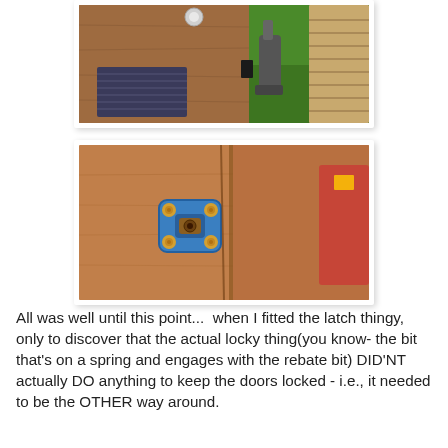[Figure (photo): Close-up photo of a wooden cabinet door with a round knob at top, a ventilation grille panel at bottom-left, and a dark latch mechanism visible at right. Background shows green grass and a vacuum cleaner.]
[Figure (photo): Close-up photo of a wooden door panel showing a blue metal latch/lock fitting with gold screws mounted on the wood grain surface. A decorative item is partially visible at the right edge.]
All was well until this point...  when I fitted the latch thingy, only to discover that the actual locky thing(you know- the bit that's on a spring and engages with the rebate bit) DID'NT actually DO anything to keep the doors locked - i.e., it needed to be the OTHER way around.